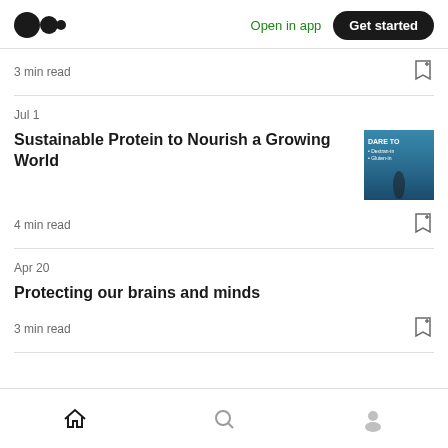Medium logo | Open in app | Get started
3 min read
Jul 1
Sustainable Protein to Nourish a Growing World
4 min read
Apr 20
Protecting our brains and minds
3 min read
Home | Search | Profile